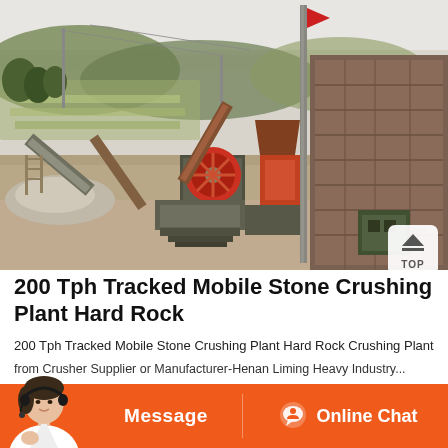[Figure (photo): Outdoor industrial stone crushing plant with heavy machinery, conveyors, a jaw crusher with red flywheel, stone wall on the right, a vertical pole with a red flag, green hills in the background, and a 'TOP' button overlay in the bottom-right corner.]
200 Tph Tracked Mobile Stone Crushing Plant Hard Rock
200 Tph Tracked Mobile Stone Crushing Plant Hard Rock Crushing Plant Layout , Find Complete Details about 200 Tph Tracked Mobile Stone
from Crusher Supplier or Manufacturer-Henan Liming Heavy Industry...